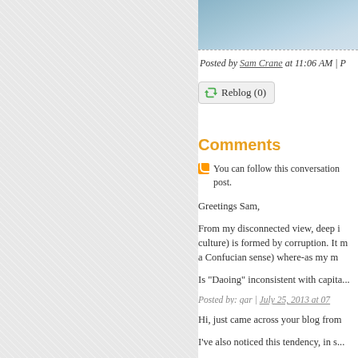[Figure (photo): Cropped photo of water reflections, blue-grey tones]
Posted by Sam Crane at 11:06 AM | P...
[Figure (other): Reblog (0) button with recycling icon]
Comments
You can follow this conversation ... post.
Greetings Sam,
From my disconnected view, deep i... culture) is formed by corruption. It m... a Confucian sense) where-as my m...
Is "Daoing" inconsistent with capita...
Posted by: gar | July 25, 2013 at 07...
Hi, just came across your blog from...
I've also noticed this tendency, in s...